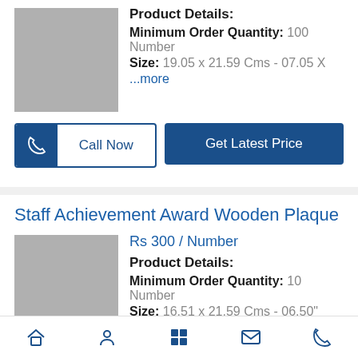[Figure (photo): Gray placeholder product image]
Product Details:
Minimum Order Quantity: 100 Number
Size: 19.05 x 21.59 Cms - 07.05 X
...more
Call Now
Get Latest Price
Staff Achievement Award Wooden Plaque
Rs 300 / Number
[Figure (photo): Gray placeholder product image]
Product Details:
Minimum Order Quantity: 10 Number
Size: 16.51 x 21.59 Cms - 06.50"
Home | Profile | Grid | Message | Call